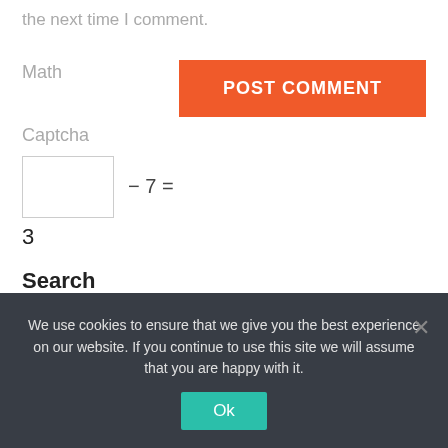the next time I comment.
Math
POST COMMENT
Captcha
3
Search
SEARCH
We use cookies to ensure that we give you the best experience on our website. If you continue to use this site we will assume that you are happy with it.
Ok